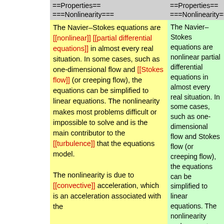==Properties== ===Nonlinearity===
==Properties== ===Nonlinearity===
The Navier–Stokes equations are [[nonlinear]] [[partial differential equations]] in almost every real situation. In some cases, such as one-dimensional flow and [[Stokes flow]] (or creeping flow), the equations can be simplified to linear equations. The nonlinearity makes most problems difficult or impossible to solve and is the main contributor to the [[turbulence]] that the equations model. The nonlinearity is due to [[convective]] acceleration, which is an acceleration associated with the
The Navier–Stokes equations are nonlinear partial differential equations in almost every real situation. In some cases, such as one-dimensional flow and Stokes flow (or creeping flow), the equations can be simplified to linear equations. The nonlinearity makes most problems difficult or impossible to solve and is the main contributor to the turbulence that the equations model. The nonlinearity is due to convective acceleration, which is an acceleration